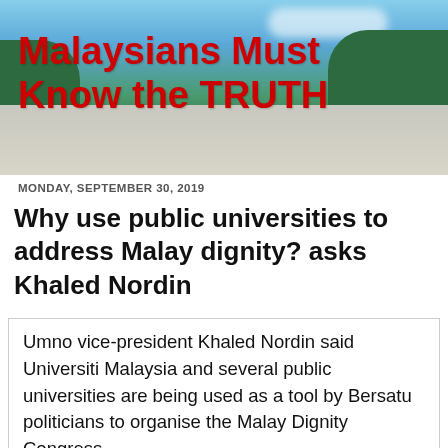[Figure (photo): Banner image showing a road with green trees on the sides, blue sky with clouds in the background, serving as a website header.]
Malaysians Must Know the TRUTH
MONDAY, SEPTEMBER 30, 2019
Why use public universities to address Malay dignity? asks Khaled Nordin
Umno vice-president Khaled Nordin said Universiti Malaysia and several public universities are being used as a tool by Bersatu politicians to organise the Malay Dignity Congress.